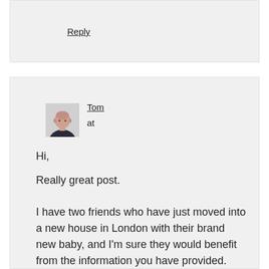Reply
[Figure (photo): Avatar photo of a bald man wearing a dark sweater against a white background]
Tom
at
Hi,
Really great post.
I have two friends who have just moved into a new house in London with their brand new baby, and I'm sure they would benefit from the information you have provided.